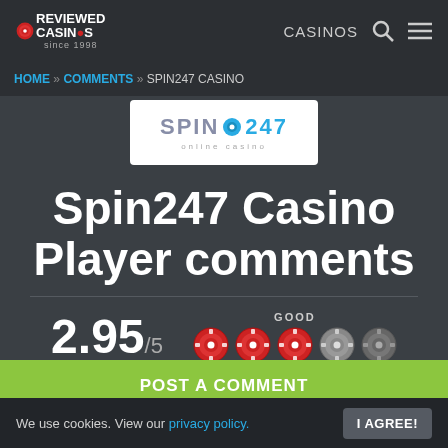REVIEWED CASINOS since 1998 | CASINOS
HOME » COMMENTS » SPIN247 CASINO
[Figure (logo): Spin247 online casino logo on white background]
Spin247 Casino Player comments
2.95/5  GOOD  ●●●◐○
POST A COMMENT
We use cookies. View our privacy policy. I AGREE!